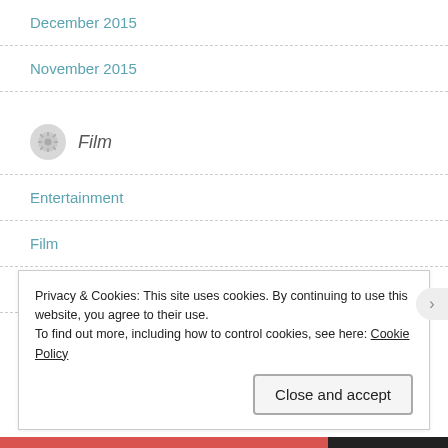December 2015
November 2015
Film
Entertainment
Film
Movies
Tribute
Privacy & Cookies: This site uses cookies. By continuing to use this website, you agree to their use.
To find out more, including how to control cookies, see here: Cookie Policy
Close and accept